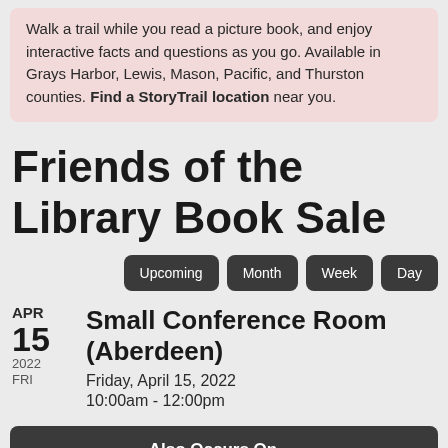Walk a trail while you read a picture book, and enjoy interactive facts and questions as you go. Available in Grays Harbor, Lewis, Mason, Pacific, and Thurston counties. Find a StoryTrail location near you.
Friends of the Library Book Sale
Upcoming
Month
Week
Day
APR 15 2022 FRI — Small Conference Room (Aberdeen) — Friday, April 15, 2022 — 10:00am - 12:00pm
Also Occurs On